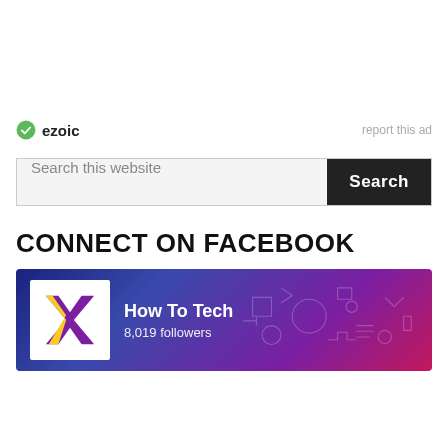[Figure (logo): Ezoic logo with green circular icon and 'ezoic' text, with 'report this ad' link on the right]
Search this website
CONNECT ON FACEBOOK
[Figure (screenshot): Facebook page banner for 'How To Tech' showing 8,019 followers, with a logo featuring a yellow and purple X mark on white background, against a dark blue to purple gradient background with social media icons]